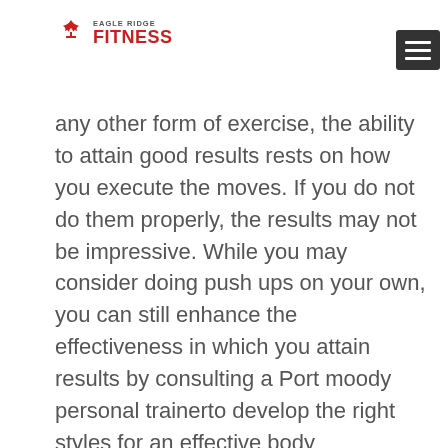EAGLE RIDGE FITNESS
any other form of exercise, the ability to attain good results rests on how you execute the moves. If you do not do them properly, the results may not be impressive. While you may consider doing push ups on your own, you can still enhance the effectiveness in which you attain results by consulting a Port moody personal trainerto develop the right styles for an effective body transformation.